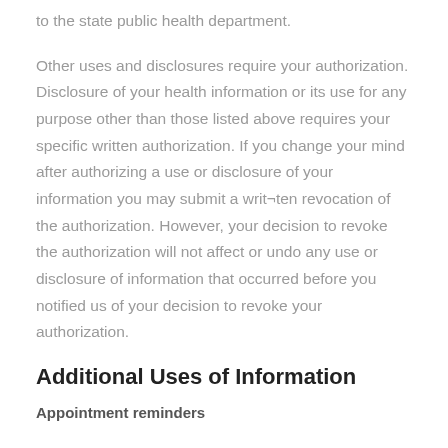to the state public health department.
Other uses and disclosures require your authorization. Disclosure of your health information or its use for any purpose other than those listed above requires your specific written authorization. If you change your mind after authorizing a use or disclosure of your information you may submit a writ¬ten revocation of the authorization. However, your decision to revoke the authorization will not affect or undo any use or disclosure of information that occurred before you notified us of your decision to revoke your authorization.
Additional Uses of Information
Appointment reminders